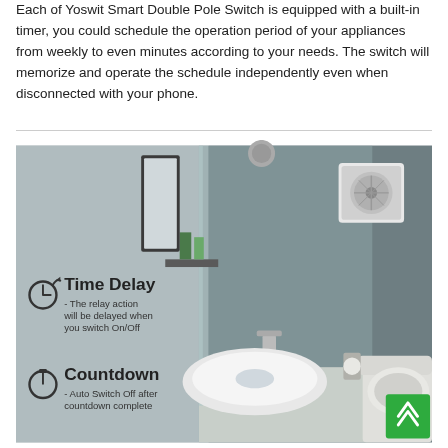Each of Yoswit Smart Double Pole Switch is equipped with a built-in timer, you could schedule the operation period of your appliances from weekly to even minutes according to your needs. The switch will memorize and operate the schedule independently even when disconnected with your phone.
[Figure (photo): Photo of a modern bathroom with a glass shower enclosure, wall-mounted fan, basin, and toilet. Overlaid text describes timer features: 'Time Delay - The relay action will be delayed when you switch On/Off' and 'Countdown - Auto Switch Off after countdown complete'. A green back-to-top button is visible in the bottom right.]